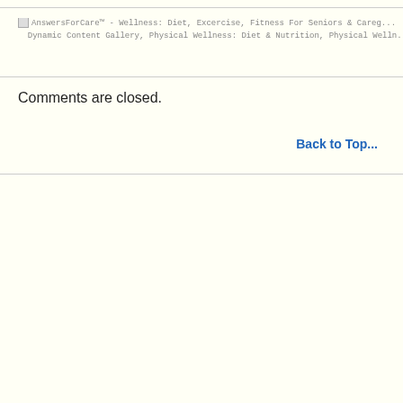AnswersForCare™ - Wellness: Diet, Excercise, Fitness For Seniors & Caregiver Dynamic Content Gallery, Physical Wellness: Diet & Nutrition, Physical Wellness...
Comments are closed.
Back to Top...